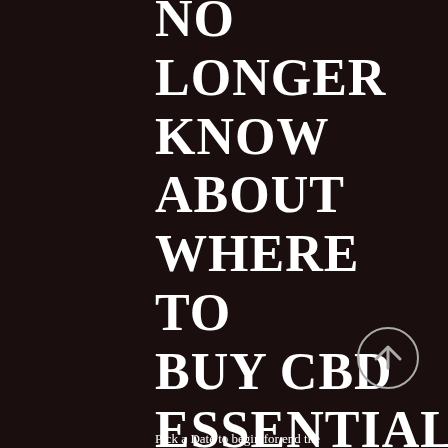NO LONGER KNOW ABOUT WHERE TO BUY CBD ESSENTIAL OIL,
[Figure (illustration): A circular arrow-up button icon (back-to-top button) with a light gray circle border and upward-pointing arrow inside, on dark background]
Pick a Date to begin for end the